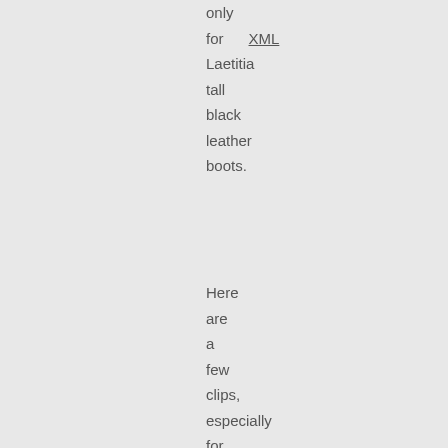only for XML Laetitia tall black leather boots.
Here are a few clips, especially for Liberry Boy who bequeathed us his tickets. Audio quality is bad, video even